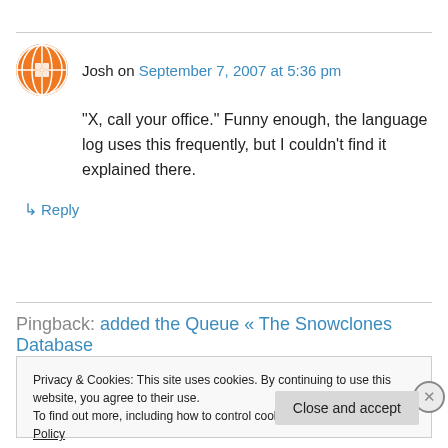Josh on September 7, 2007 at 5:36 pm
“X, call your office.” Funny enough, the language log uses this frequently, but I couldn’t find it explained there.
↳ Reply
Pingback: added the Queue « The Snowclones Database
Privacy & Cookies: This site uses cookies. By continuing to use this website, you agree to their use.
To find out more, including how to control cookies, see here: Cookie Policy
Close and accept